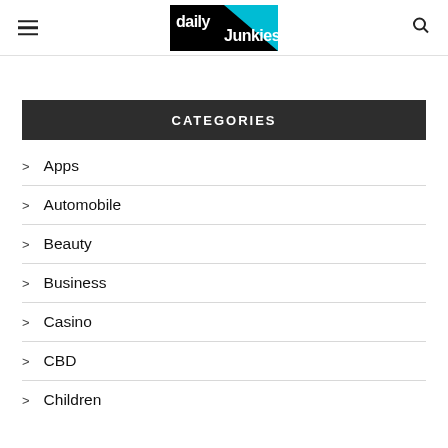daily junkies — navigation header with hamburger menu and search icon
CATEGORIES
Apps
Automobile
Beauty
Business
Casino
CBD
Children